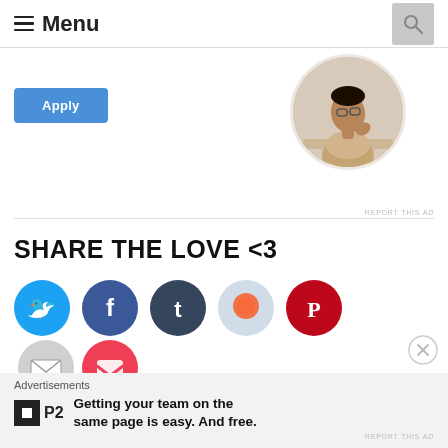Menu
[Figure (photo): Circular cropped photo of a man wearing glasses, looking upward thoughtfully, sitting at a desk]
[Figure (screenshot): Apply button (blue rounded rectangle)]
REPORT THIS AD
SHARE THE LOVE <3
[Figure (infographic): Row of social media share icon circles: Twitter (blue), Facebook (blue), Tumblr (dark blue), Reddit (light blue), Pinterest (dark red), Email (gray), Pocket (red)]
Like
Advertisements
[Figure (logo): P2 logo: black square with white inner square, next to bold 'P2' text]
Getting your team on the same page is easy. And free.
REPORT THIS AD